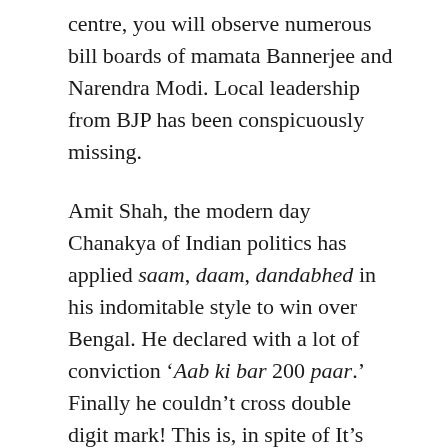centre, you will observe numerous bill boards of mamata Bannerjee and Narendra Modi. Local leadership from BJP has been conspicuously missing.
Amit Shah, the modern day Chanakya of Indian politics has applied saam, daam, dandabhed in his indomitable style to win over Bengal. He declared with a lot of conviction ‘Aab ki bar 200 paar.’ Finally he couldn’t cross double digit mark! This is, in spite of It’s central leadership camping for more than a year in Bengal. J P Nadda, Amit Malavya, their IT head and Kailash Vijaybargyia have virtually made Bengal their home turf. As much the central leadership was afraid to announce a chief ministerial face, as